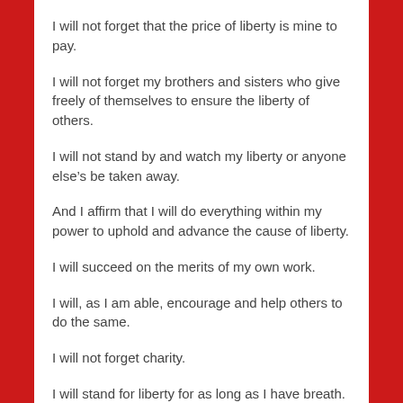I will not forget that the price of liberty is mine to pay.
I will not forget my brothers and sisters who give freely of themselves to ensure the liberty of others.
I will not stand by and watch my liberty or anyone else’s be taken away.
And I affirm that I will do everything within my power to uphold and advance the cause of liberty.
I will succeed on the merits of my own work.
I will, as I am able, encourage and help others to do the same.
I will not forget charity.
I will stand for liberty for as long as I have breath.
And when my time comes, I will do my best to ensure